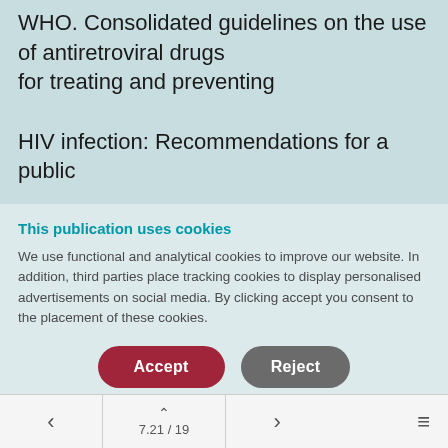WHO. Consolidated guidelines on the use of antiretroviral drugs for treating and preventing HIV infection: Recommendations for a public
This publication uses cookies
We use functional and analytical cookies to improve our website. In addition, third parties place tracking cookies to display personalised advertisements on social media. By clicking accept you consent to the placement of these cookies.
7.21 / 19